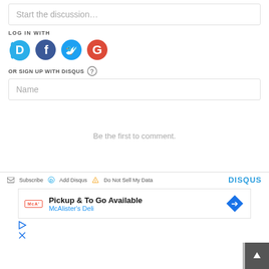Start the discussion…
LOG IN WITH
[Figure (illustration): Social login icons: Disqus (D), Facebook (f), Twitter bird, Google (G) as colored circles]
OR SIGN UP WITH DISQUS ?
Name
Be the first to comment.
Subscribe  Add Disqus  Do Not Sell My Data  DISQUS
[Figure (infographic): McAlister's Deli ad: Pickup & To Go Available with logo and navigation arrow]
[Figure (illustration): Play and close icons at bottom left]